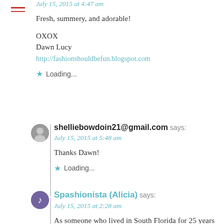[Figure (other): Hamburger menu icon (two red horizontal lines)]
July 15, 2015 at 4:47 am
Fresh, summery, and adorable!
OXOX
Dawn Lucy
http://fashionshouldbefun.blogspot.com
★ Loading...
[Figure (photo): Small circular avatar photo of shelliebowdoin21]
shelliebowdoin21@gmail.com says:
July 15, 2015 at 5:48 am
Thanks Dawn!
★ Loading...
[Figure (illustration): Small circular avatar with purple background for Spashionista (Alicia)]
Spashionista (Alicia) says:
July 15, 2015 at 2:28 am
As someone who lived in South Florida for 25 years I know that Summertime in Florida is HOT! You did a great job